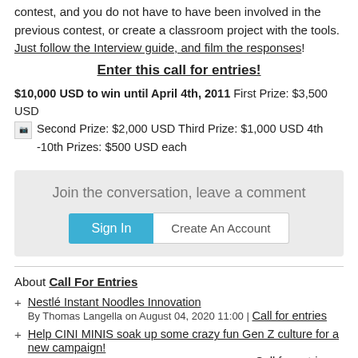contest, and you do not have to have been involved in the previous contest, or create a classroom project with the tools. Just follow the Interview guide, and film the responses!
Enter this call for entries!
$10,000 USD to win until April 4th, 2011 First Prize: $3,500 USD Second Prize: $2,000 USD Third Prize: $1,000 USD 4th -10th Prizes: $500 USD each
Join the conversation, leave a comment
Sign In   Create An Account
About Call For Entries
Nestlé Instant Noodles Innovation
By Thomas Langella on August 04, 2020 11:00 | Call for entries
Help CINI MINIS soak up some crazy fun Gen Z culture for a new campaign!
By Mikhail Kachokhidze on May 20, 2020 13:09 | Call for entries